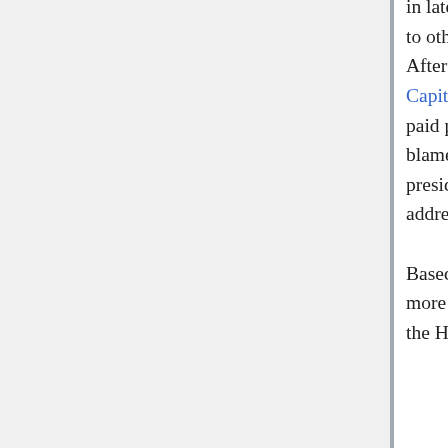in late November 2020 called for Trump to concede.[25] She later sent a memo to other House Republicans in opposition to objecting to the Biden electors.[26] After a largely peaceful protest organized by Trump supporters in the U.S. Capitol where a small mob likely comprised partly of Antifa infiltrators and paid protesters violently broke into the Capitol building, Cheney absurdly blamed Trump for the breaking and entering, saying: "There's no question the president formed the mob, the president incited the mob, the president addressed the mob. He lit the flame."[27]

Based upon Cheney's unreasonable support of Trump's second impeachment, more than 115 members of the U.S. House favor removing Cheney as chair of the House GOP